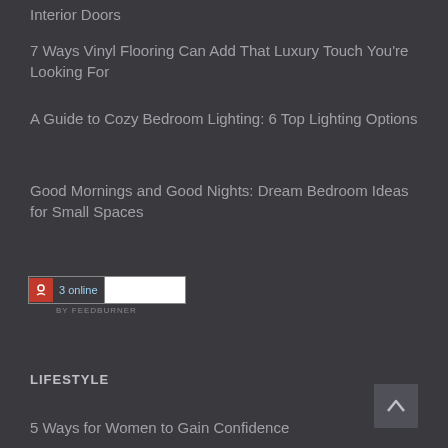Interior Doors
7 Ways Vinyl Flooring Can Add That Luxury Touch You're Looking For
A Guide to Cozy Bedroom Lighting: 6 Top Lighting Options
Good Mornings and Good Nights: Dream Bedroom Ideas for Small Spaces
[Figure (other): FeedBurner online counter widget showing 3 online, with input field and BY FEEDBURNER label]
LIFESTYLE
5 Ways for Women to Gain Confidence